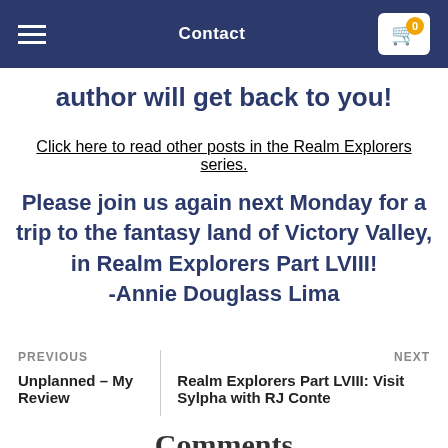Contact
author will get back to you!
Click here to read other posts in the Realm Explorers series.
Please join us again next Monday for a trip to the fantasy land of Victory Valley, in Realm Explorers Part LVIII! -Annie Douglass Lima
PREVIOUS
Unplanned – My Review
NEXT
Realm Explorers Part LVIII: Visit Sylpha with RJ Conte
Comments